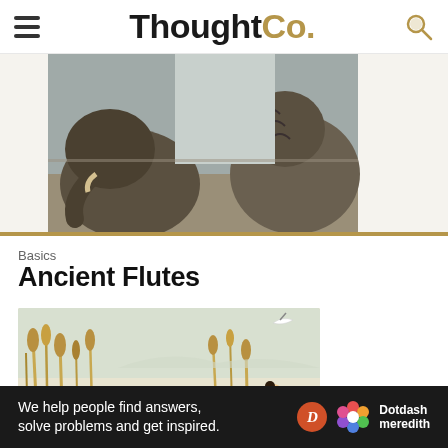ThoughtCo.
[Figure (photo): Photograph of elephants, partially cropped, showing close-up of elephant heads and trunks against a cloudy background.]
Basics
Ancient Flutes
[Figure (illustration): Illustrated artwork depicting an ancient Chinese figure playing a flute in a wetland/reed landscape with birds flying in the background.]
Ad
We help people find answers, solve problems and get inspired.  Dotdash meredith